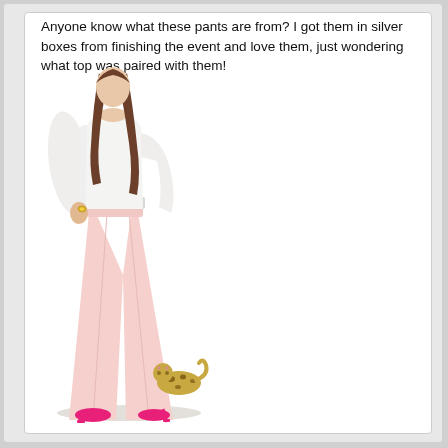Anyone know what these pants are from? I got them in silver boxes from finishing the event and love them, just wondering what top was paired with them!
[Figure (illustration): Fashion illustration of a woman wearing light pink wide-leg trousers with a white long-sleeve top and a glittery/sequined belt. She wears bright pink high-heel shoes. A small leopard-print cat is visible at her feet in the lower right. The figure is shown from roughly the chest down.]